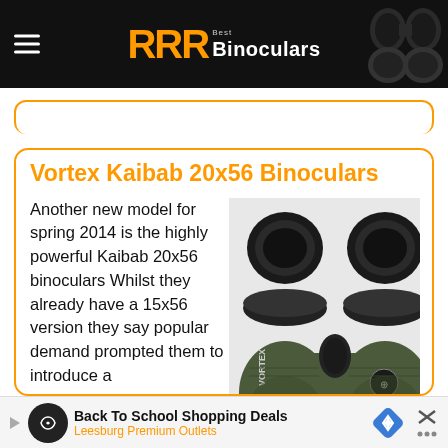RRR Best Binoculars
Vortex Kaibab 20x56 Binoculars
Another new model for spring 2014 is the highly powerful Kaibab 20x56 binoculars Whilst they already have a 15x56 version they say popular demand prompted them to introduce a 20x56 ve...
[Figure (photo): Vortex Kaibab green binoculars, large 56mm objective lenses, black eyecups, side view showing VORTEX branding and logo]
Back To School Shopping Deals Leesburg Premium Outlets